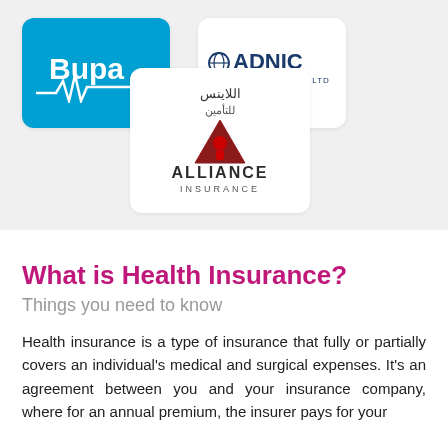[Figure (logo): Bupa logo — white text and heartbeat line on blue background]
[Figure (logo): ADNIC International Ltd logo — blue shield with globe icon and dark blue text on white background]
[Figure (logo): Alliance Insurance logo — triangle with figure icon, Arabic text اللاينس للتأمين, and ALLIANCE INSURANCE text on white background]
What is Health Insurance?
Things you need to know
Health insurance is a type of insurance that fully or partially covers an individual's medical and surgical expenses. It's an agreement between you and your insurance company, where for an annual premium, the insurer pays for your